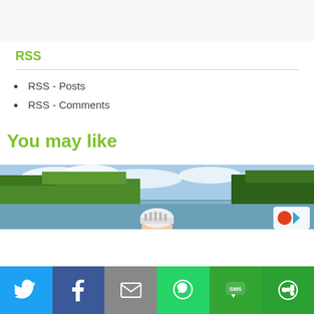RSS
RSS - Posts
RSS - Comments
You may like
[Figure (photo): Outdoor photo showing a lake with green trees in background and a person in a cycling helmet visible at the bottom center. A small colorful logo/widget appears in bottom right corner.]
[Figure (infographic): Share bar with six social share buttons: Twitter (blue), Facebook (dark blue), Email (gray), WhatsApp (green), SMS (green), More/share (dark green)]